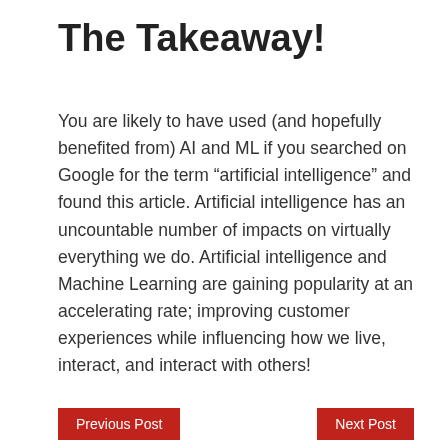The Takeaway!
You are likely to have used (and hopefully benefited from) AI and ML if you searched on Google for the term “artificial intelligence” and found this article. Artificial intelligence has an uncountable number of impacts on virtually everything we do. Artificial intelligence and Machine Learning are gaining popularity at an accelerating rate; improving customer experiences while influencing how we live, interact, and interact with others!
Previous Post | Next Post